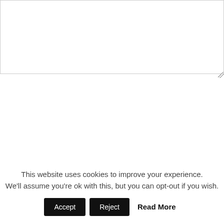[Figure (screenshot): Text area input box with resize handle in bottom-right corner]
POST COMMENT
<
>
Search
This website uses cookies to improve your experience. We'll assume you're ok with this, but you can opt-out if you wish.
Accept
Reject
Read More